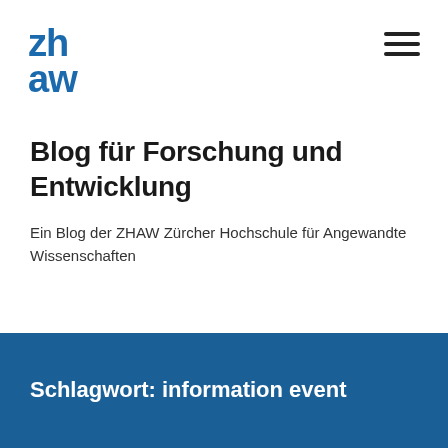[Figure (logo): ZHAW logo in blue text, two rows: 'zh' on top, 'aw' below, in bold blue font]
Blog für Forschung und Entwicklung
Ein Blog der ZHAW Zürcher Hochschule für Angewandte Wissenschaften
Schlagwort: information event